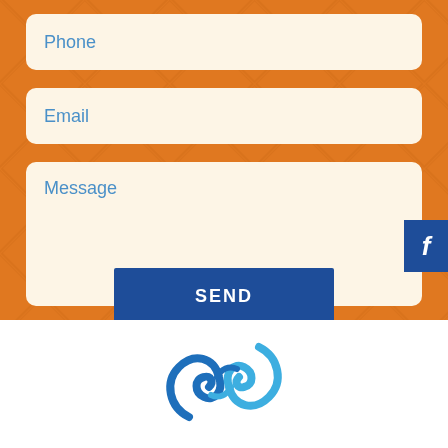Phone
Email
Message
SEND
[Figure (logo): Blue swirl/infinity-style logo on white background]